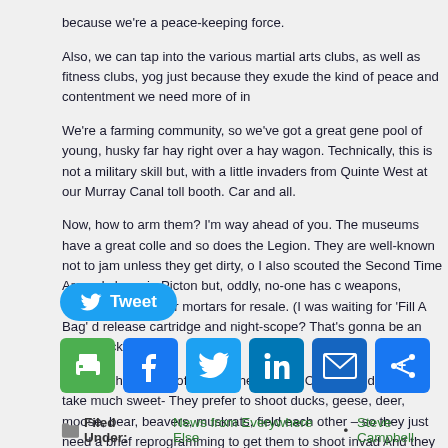because we're a peace-keeping force.
Also, we can tap into the various martial arts clubs, as well as fitness clubs, yog just because they exude the kind of peace and contentment we need more of in
We're a farming community, so we've got a great gene pool of young, husky far hay right over a hay wagon. Technically, this is not a military skill but, with a little invaders from Quinte West at our Murray Canal toll booth. Car and all.
Now, how to arm them? I'm way ahead of you. The museums have a great colle and so does the Legion. They are well-known not to jam unless they get dirty, o I also scouted the Second Time Around shops in Picton but, oddly, no-one has c weapons, missile launchers or mortars for resale. (I was waiting for 'Fill A Bag' d release cartridge and night-scope? That's gonna be an extra buck.)
Plus, we have a lot of hunters here in the County, and it won't take much sweet- They prefer to shoot ducks, geese, deer, moose, bear, beavers, muskrats, field each other – so they just need a brief reprogramming to get them to shoot invad And they get to wear camoflauge clothing and military-style hats, and paint their wait, they already do that. So the retraining session should take about five minu Next up: A new flag, and a national anthem that doesn't sound like a funeral dur
[Figure (other): Tweet button (blue rounded rectangle with Twitter bird icon and 'Tweet' text)]
[Figure (other): Social sharing icon buttons: print (green), Facebook (blue), Twitter (light blue), LinkedIn (dark blue), Email (dark blue), Share (blue)]
Filed Under: News from Everywhere Else • Steve Campbell